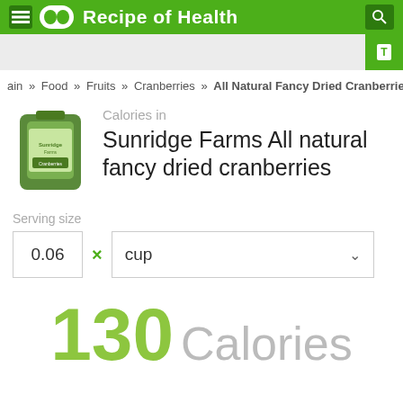Recipe of Health
ain » Food » Fruits » Cranberries » All Natural Fancy Dried Cranberries
Calories in
Sunridge Farms All natural fancy dried cranberries
Serving size
0.06 × cup
130 Calories